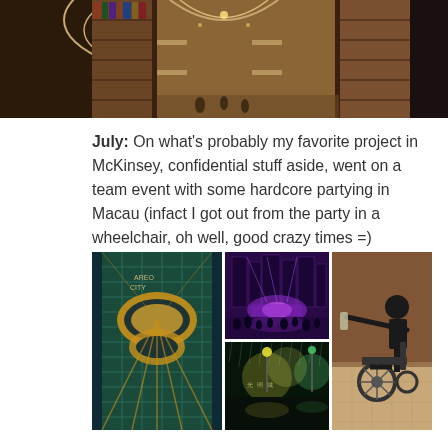[Figure (photo): Interior of a grand ornate library with curved balconies and bookshelves, panoramic view]
July: On what's probably my favorite project in McKinsey, confidential stuff aside, went on a team event with some hardcore partying in Macau (infact I got out from the party in a wheelchair, oh well, good crazy times =)
[Figure (photo): Collage of four Macau nightlife photos: illuminated building exterior with rings, purple-lit outdoor party venue, rainy nighttime street scene, person in wheelchair at party]
August: Company retreat in Tibet (we shipped over